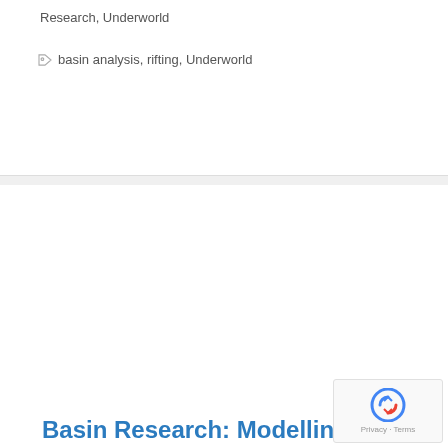Research, Underworld
basin analysis, rifting, Underworld
Basin Research: Modelling the role of dynamic topography and eustasy in the evolution of the Great Artesian Basin
22 October, 2021 by Dietmar Müller
Widespread flooding of the Australian continent during the Early Cretaceous, referred to as the Eromanga Sea, deposited extensive shallow marine sediments throughout the Great Artesian Basin (GAB). This event had been considered 'out of sync with…